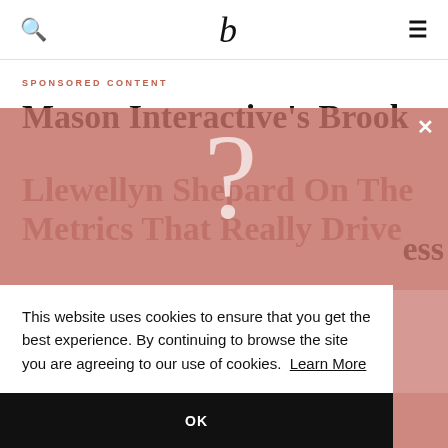b (logo), search icon, menu icon
SPONSORED CONTENT
Mason Interactive's Brook Llewellyn Shepard On The Metrics That Really Drive [Business]
This website uses cookies to ensure that you get the best experience. By continuing to browse the site you are agreeing to our use of cookies. Learn More
OK
landscape heated up, Brook Llewellyn Shepard